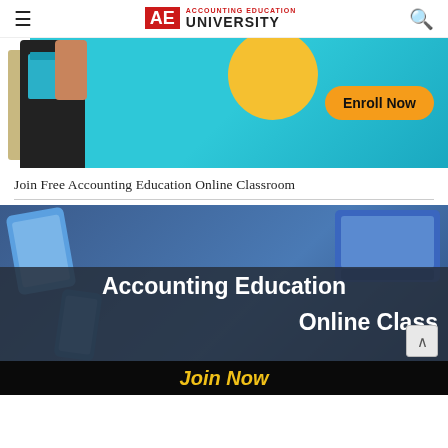AE ACCOUNTING EDUCATION UNIVERSITY
[Figure (photo): Banner showing a student holding books with a cyan/teal background and an orange 'Enroll Now' button]
Join Free Accounting Education Online Classroom
[Figure (illustration): Banner showing digital devices (laptop, tablet, phone) on a dark blue background with text 'Accounting Education Online Class' and 'Join Now' in yellow]